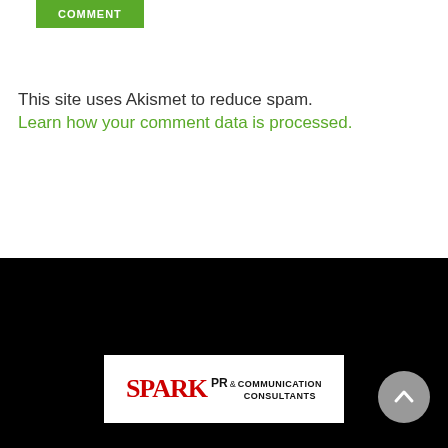[Figure (other): Green COMMENT submit button]
This site uses Akismet to reduce spam. Learn how your comment data is processed.
[Figure (logo): SPARK PR & COMMUNICATION CONSULTANTS logo on white rectangle background, in black footer]
[Figure (other): Gray circular back-to-top arrow button in bottom right corner]